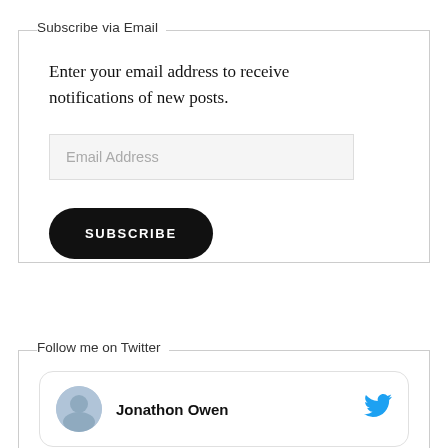Subscribe via Email
Enter your email address to receive notifications of new posts.
Email Address
SUBSCRIBE
Follow me on Twitter
Jonathon Owen